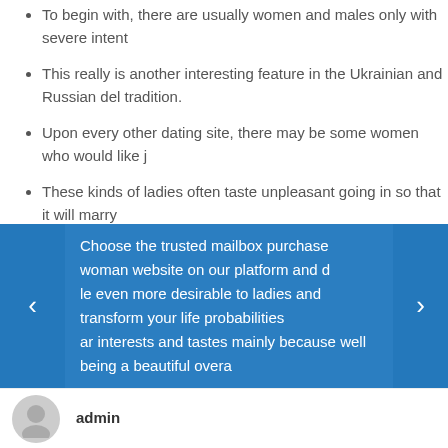To begin with, there are usually women and males only with severe intent
This really is another interesting feature in the Ukrainian and Russian del tradition.
Upon every other dating site, there may be some women who would like j
These kinds of ladies often taste unpleasant going in so that it will marry
These women are sufferer and very humble in their human relationships.
When you begin seeking really like online and email girls right from abroad, it is and virtual connection http://www.agentsandagencies.com/the-for-german-br most cozy and pleasant, adhere to these pointers. Prior to progressing to the e
Choose the trusted mailbox purchase woman website on our platform and d le even more desirable to ladies and transform your life probabilities ar interests and tastes mainly because well being a beautiful overa
admin